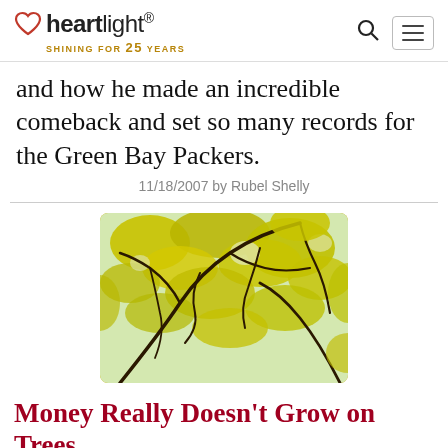heartlight® SHINING FOR 25 YEARS
and how he made an incredible comeback and set so many records for the Green Bay Packers.
11/18/2007 by Rubel Shelly
[Figure (photo): Close-up photo of yellow-green tree blossoms and dark branches, with a bright sky background.]
Money Really Doesn't Grow on Trees